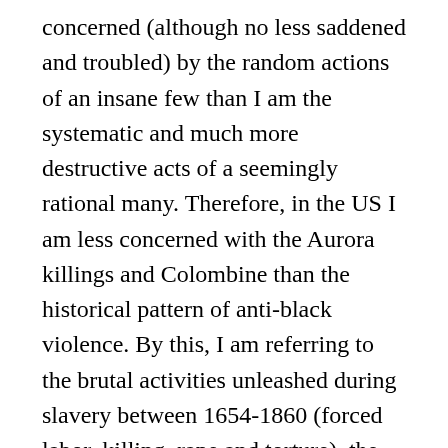concerned (although no less saddened and troubled) by the random actions of an insane few than I am the systematic and much more destructive acts of a seemingly rational many. Therefore, in the US I am less concerned with the Aurora killings and Colombine than the historical pattern of anti-black violence. By this, I am referring to the brutal activities unleashed during slavery between 1654-1860 (forced labor, killing, rape and torture), the period of lynching which followed 1880-1950 (torture and killing) as well as the inhumane and highly biased activities that exist within and outside of the prison system from the late 1800s to the present (i.e., psychological